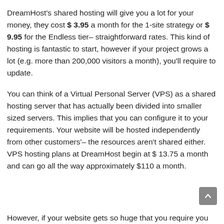DreamHost's shared hosting will give you a lot for your money, they cost $ 3.95 a month for the 1-site strategy or $ 9.95 for the Endless tier– straightforward rates. This kind of hosting is fantastic to start, however if your project grows a lot (e.g. more than 200,000 visitors a month), you'll require to update.
You can think of a Virtual Personal Server (VPS) as a shared hosting server that has actually been divided into smaller sized servers. This implies that you can configure it to your requirements. Your website will be hosted independently from other customers'– the resources aren't shared either. VPS hosting plans at DreamHost begin at $ 13.75 a month and can go all the way approximately $110 a month.
However, if your website gets so huge that you require you